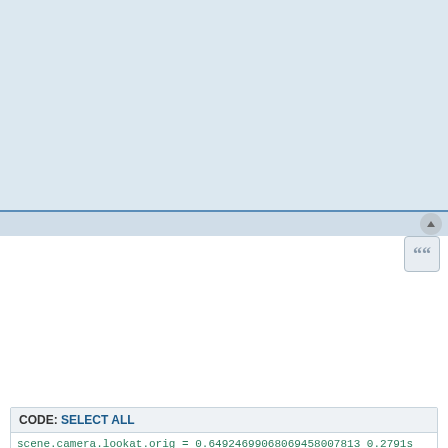[Figure (screenshot): Top panel with light blue-grey background representing a forum post or advertisement area above a horizontal divider bar with a scroll-to-top button.]
illwieckz
Re: Looking for help to identify a compiler bug in Clang uncovered by LuxMark/LuxCore
Wed Jun 15, 2022 11:00 pm
I'm still able to reproduce the bug when I reduce the luxball/scene.scn scene file to this:
CODE: SELECT ALL
scene.camera.lookat.orig = 0.64924699068069458007813 0.2791s